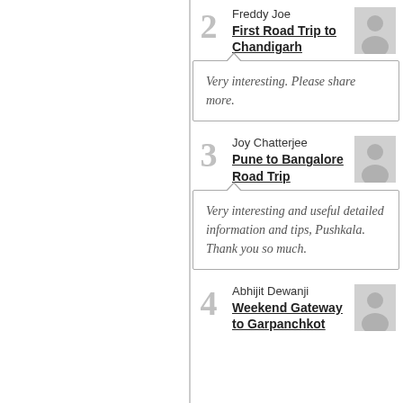2 Freddy Joe — First Road Trip to Chandigarh
Very interesting. Please share more.
3 Joy Chatterjee — Pune to Bangalore Road Trip
Very interesting and useful detailed information and tips, Pushkala. Thank you so much.
4 Abhijit Dewanji — Weekend Gateway to Garpanchkot